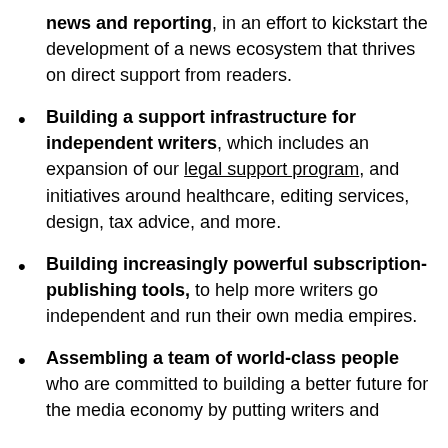news and reporting, in an effort to kickstart the development of a news ecosystem that thrives on direct support from readers.
Building a support infrastructure for independent writers, which includes an expansion of our legal support program, and initiatives around healthcare, editing services, design, tax advice, and more.
Building increasingly powerful subscription-publishing tools, to help more writers go independent and run their own media empires.
Assembling a team of world-class people who are committed to building a better future for the media economy by putting writers and